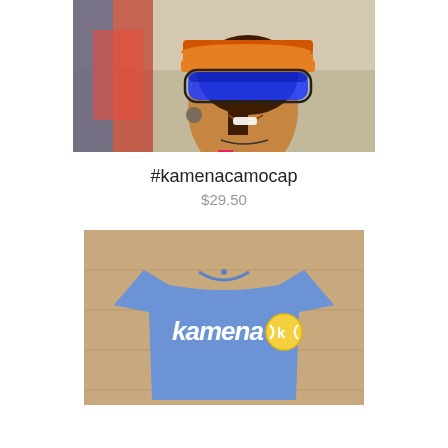[Figure (photo): Photo of a woman wearing orange and blue mirrored shield sunglasses and a camo cap at a beach setting, smiling, with colorful background]
#kamenacamocap
$29.50
[Figure (photo): Photo of a blue heather t-shirt with the Kamena logo in white script and a yellow tennis ball icon on a wooden surface]